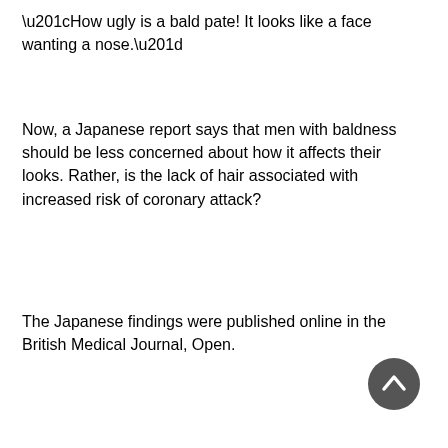“How ugly is a bald pate! It looks like a face wanting a nose.”
Now, a Japanese report says that men with baldness should be less concerned about how it affects their looks. Rather, is the lack of hair associated with increased risk of coronary attack?
The Japanese findings were published online in the British Medical Journal, Open.
[Figure (other): Dark gray circular back-to-top button with a white upward chevron arrow]